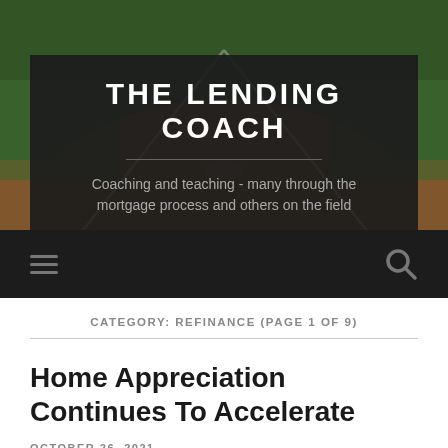[Figure (photo): Baseball field/diamond background photo showing the infield with white chalk lines and dirt, with green grass beyond]
THE LENDING COACH
Coaching and teaching - many through the mortgage process and others on the field
CATEGORY: REFINANCE (PAGE 1 OF 9)
Home Appreciation Continues To Accelerate
OCTOBER 26, 2021